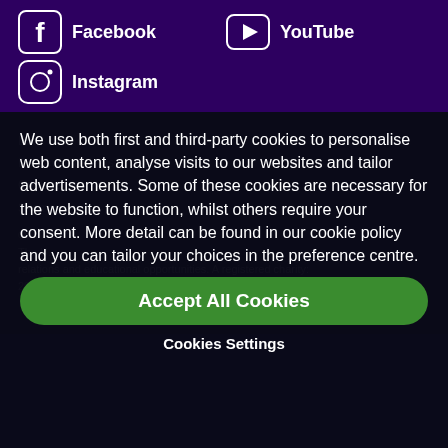[Figure (logo): Social media icons bar with Facebook, YouTube, and Instagram icons and labels on dark purple background]
British Council footer links: Bn... / Privacy and terms of use / Cookies / Sitemap
© 202... The U... relations and educational opportunities. A registered charity: 209131 (England and Wales) SC037733 (Scotland)
We use both first and third-party cookies to personalise web content, analyse visits to our websites and tailor advertisements. Some of these cookies are necessary for the website to function, whilst others require your consent. More detail can be found in our cookie policy and you can tailor your choices in the preference centre.
Accept All Cookies
Cookies Settings